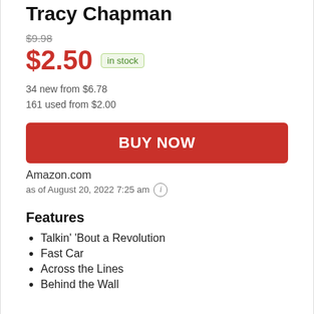Tracy Chapman
$9.98
$2.50  in stock
34 new from $6.78
161 used from $2.00
BUY NOW
Amazon.com
as of August 20, 2022 7:25 am
Features
Talkin' 'Bout a Revolution
Fast Car
Across the Lines
Behind the Wall